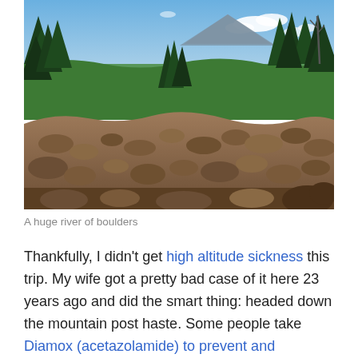[Figure (photo): Mountain landscape photo showing a rocky boulder field in the foreground, dense evergreen forest in the middle ground, and a wide valley with a broad mountain peak in the background under a partly cloudy blue sky.]
A huge river of boulders
Thankfully, I didn't get high altitude sickness this trip. My wife got a pretty bad case of it here 23 years ago and did the smart thing: headed down the mountain post haste. Some people take Diamox (acetazolamide) to prevent and